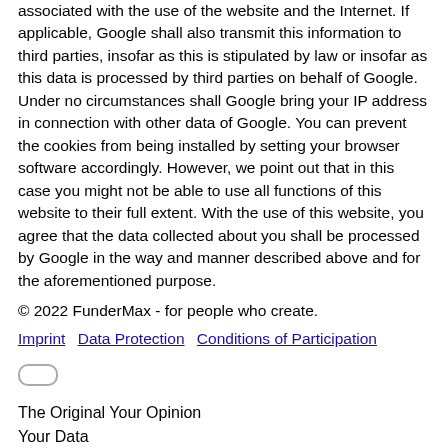associated with the use of the website and the Internet. If applicable, Google shall also transmit this information to third parties, insofar as this is stipulated by law or insofar as this data is processed by third parties on behalf of Google. Under no circumstances shall Google bring your IP address in connection with other data of Google. You can prevent the cookies from being installed by setting your browser software accordingly. However, we point out that in this case you might not be able to use all functions of this website to their full extent. With the use of this website, you agree that the data collected about you shall be processed by Google in the way and manner described above and for the aforementioned purpose.
© 2022 FunderMax - for people who create.
Imprint  Data Protection  Conditions of Participation
The Original Your Opinion
Your Data
Name
E-Mail